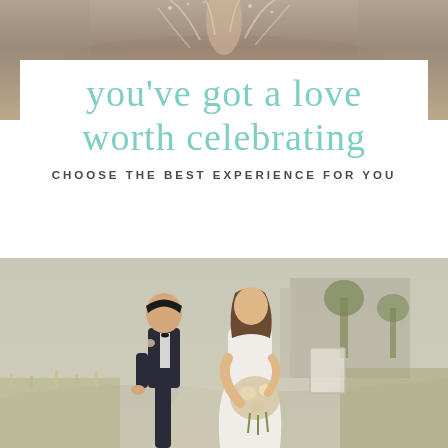[Figure (photo): Outdoor water splash or fountain photo, cropped at top of page]
you've got a love worth celebrating
CHOOSE THE BEST EXPERIENCE FOR YOU
[Figure (photo): Wedding couple — groom in black tuxedo with bow tie and bride in white dress holding bouquet, walking outdoors in a garden/landscaped setting]